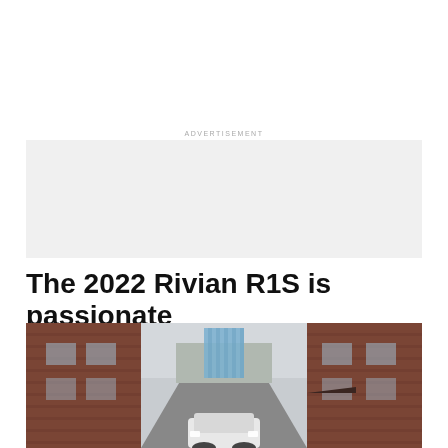ADVERTISEMENT
[Figure (other): Advertisement placeholder box with light gray background]
The 2022 Rivian R1S is passionate
[Figure (photo): A Rivian R1S electric SUV driving through an urban alley flanked by red brick buildings, with a modern glass skyscraper visible in the background under an overcast sky]